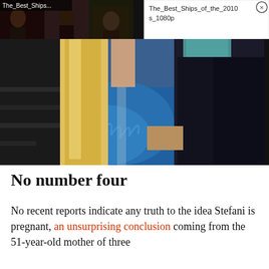[Figure (screenshot): Video thumbnail collage showing multiple TV/movie couple scenes with a play button in the center, labeled 'The_Best_Ships...']
[Figure (screenshot): Popup/notification panel showing filename 'The_Best_Ships_of_the_2010s_1080p' with a close (X) button]
[Figure (photo): Photo of a couple holding hands at an event. A woman in a blue feathered/ruffled dress with long blonde hair and a man in a dark suit with teal/turquoise shirt.]
No number four
No recent reports indicate any truth to the idea Stefani is pregnant, an unsurprising conclusion coming from the 51-year-old mother of three